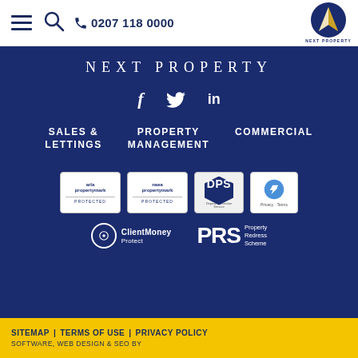☰ 🔍 📞 0207 118 0000 — NEXT PROPERTY
NEXT PROPERTY
[Figure (logo): Social media icons: Facebook (f), Twitter (bird), LinkedIn (in)]
SALES & LETTINGS
PROPERTY MANAGEMENT
COMMERCIAL
[Figure (logo): Certification badges: arla propertymark PROTECTED, naea propertymark PROTECTED, DPS (Deposit Protection Service), reCAPTCHA Privacy-Terms]
[Figure (logo): ClientMoney Protect badge and PRS Property Redress Scheme badge]
SITEMAP | TERMS OF USE | PRIVACY POLICY
SOFTWARE, WEB DESIGN & SEO BY